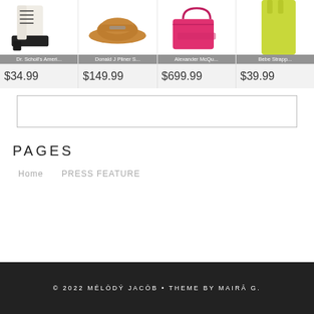[Figure (screenshot): Product grid showing four fashion items: white lace-up boot, tan loafer, pink handbag, yellow dress, with product names and prices]
Dr. Scholl's Ameri...
Donald J Pliner S...
Alexander McQu...
Bebe Strapp...
$34.99
$149.99
$699.99
$39.99
PAGES
Home
PRESS FEATURE
© 2022 MÉLÒDÝ JACÒB • THEME BY MAIRÂ G.